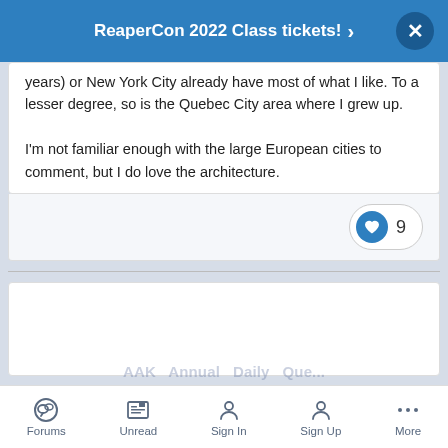ReaperCon 2022 Class tickets! ›
years) or New York City already have most of what I like. To a lesser degree, so is the Quebec City area where I grew up.

I'm not familiar enough with the large European cities to comment, but I do love the architecture.
♥ 9
Forums   Unread   Sign In   Sign Up   More